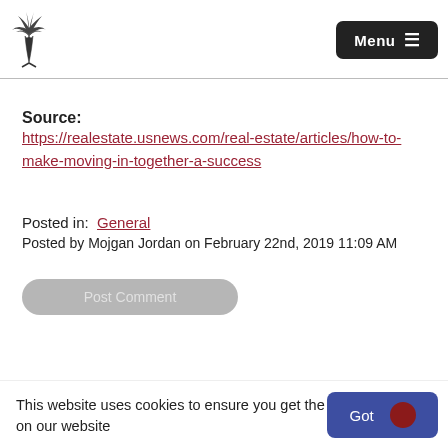Menu
Source: https://realestate.usnews.com/real-estate/articles/how-to-make-moving-in-together-a-success
Posted in: General
Posted by Mojgan Jordan on February 22nd, 2019 11:09 AM
Post Comment
This website uses cookies to ensure you get the best experience on our website